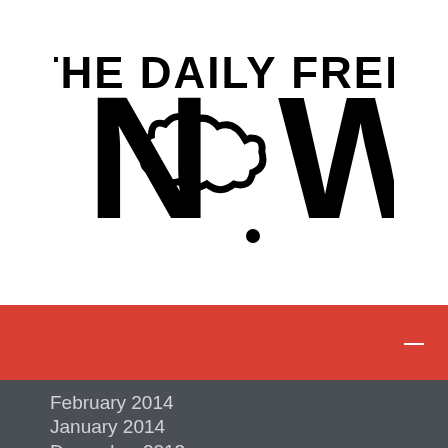[Figure (logo): The Daily Free NOW logo — bold black text reading 'THE DAILY FREE' above large bold 'NOW' with a speech bubble cloud replacing the letter O]
[Figure (other): Red navigation bar with a white dash/hamburger menu icon on the right]
February 2014
January 2014
December 2013
November 2013
October 2013